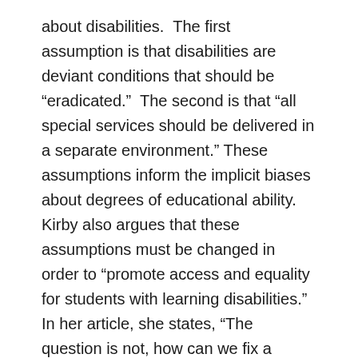about disabilities.  The first assumption is that disabilities are deviant conditions that should be “eradicated.”  The second is that “all special services should be delivered in a separate environment.”  These assumptions inform the implicit biases about degrees of educational ability.  Kirby also argues that these assumptions must be changed in order to “promote access and equality for students with learning disabilities.”   In her article, she states, “The question is not, how can we fix a disability, but how can we make our classroom environments a place where all students can learn, regardless of their need.”
The educational system that is currently in place in the US involves separating students with learning disabilities, “low-performing” students, students who meet “average” expectations, and “high-performing” students. This system...